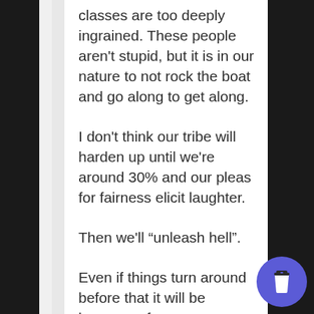classes are too deeply ingrained. These people aren't stupid, but it is in our nature to not rock the boat and go along to get along.
I don't think our tribe will harden up until we're around 30% and our pleas for fairness elicit laughter.
Then we'll “unleash hell”.
Even if things turn around before that it will be because of